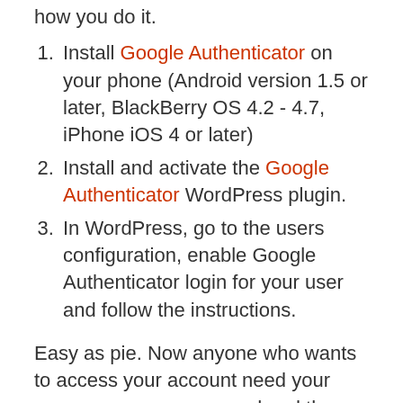how you do it.
Install Google Authenticator on your phone (Android version 1.5 or later, BlackBerry OS 4.2 - 4.7, iPhone iOS 4 or later)
Install and activate the Google Authenticator WordPress plugin.
In WordPress, go to the users configuration, enable Google Authenticator login for your user and follow the instructions.
Easy as pie. Now anyone who wants to access your account need your username, your password and the one-time code. It's